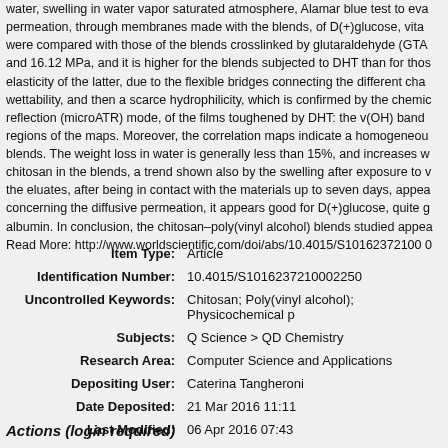water, swelling in water vapor saturated atmosphere, Alamar blue test to evaluate permeation, through membranes made with the blends, of D(+)glucose, vita were compared with those of the blends crosslinked by glutaraldehyde (GTA and 16.12 MPa, and it is higher for the blends subjected to DHT than for thos elasticity of the latter, due to the flexible bridges connecting the different cha wettability, and then a scarce hydrophilicity, which is confirmed by the chemic reflection (microATR) mode, of the films toughened by DHT: the v(OH) band regions of the maps. Moreover, the correlation maps indicate a homogeneou blends. The weight loss in water is generally less than 15%, and increases w chitosan in the blends, a trend shown also by the swelling after exposure to v the eluates, after being in contact with the materials up to seven days, appea concerning the diffusive permeation, it appears good for D(+)glucose, quite g albumin. In conclusion, the chitosan–poly(vinyl alcohol) blends studied appea Read More: http://www.worldscientific.com/doi/abs/10.4015/S101623721000
| Field | Value |
| --- | --- |
| Item Type: | Article |
| Identification Number: | 10.4015/S1016237210002250 |
| Uncontrolled Keywords: | Chitosan; Poly(vinyl alcohol); Physicochemical p |
| Subjects: | Q Science > QD Chemistry |
| Research Area: | Computer Science and Applications |
| Depositing User: | Caterina Tangheroni |
| Date Deposited: | 21 Mar 2016 11:11 |
| Last Modified: | 06 Apr 2016 07:43 |
| URI: | http://eprints.imtlucca.it/id/eprint/3260 |
Actions (login required)